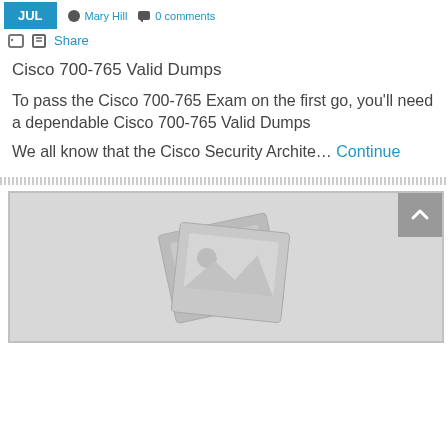JUL   Mary Hill   0 comments
Share
Cisco 700-765 Valid Dumps
To pass the Cisco 700-765 Exam on the first go, you'll need a dependable Cisco 700-765 Valid Dumps
We all know that the Cisco Security Archite… Continue
[Figure (illustration): Image placeholder with stacked photo icons on grey background, with scroll-to-top button in the corner]